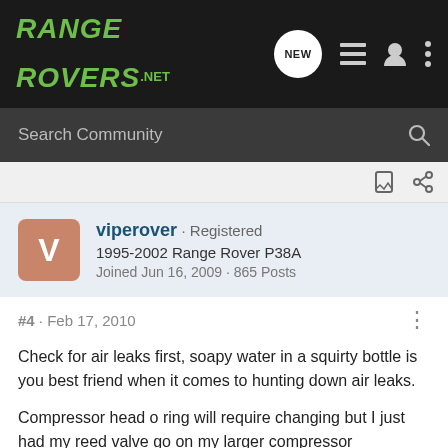RANGE ROVERS .NET
Search Community
viperover · Registered
1995-2002 Range Rover P38A
Joined Jun 16, 2009 · 865 Posts
#4 · Feb 17, 2010
Check for air leaks first, soapy water in a squirty bottle is you best friend when it comes to hunting down air leaks.

Compressor head o ring will require changing but I just had my reed valve go on my larger compressor
As you are in dusty Namibia I would also carry out the air filter mod, works really well, pics on my blog will give you more info